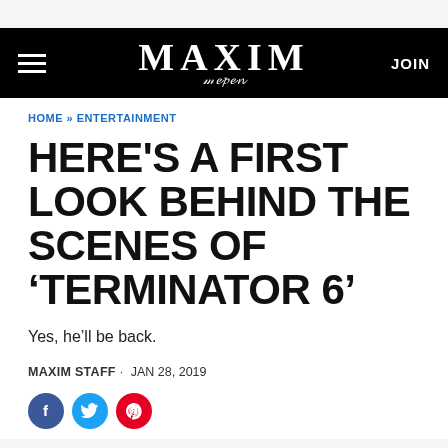MAXIM | JOIN
HOME » ENTERTAINMENT
HERE'S A FIRST LOOK BEHIND THE SCENES OF 'TERMINATOR 6'
Yes, he'll be back.
MAXIM STAFF · JAN 28, 2019
[Figure (other): Social sharing icons: Facebook, Twitter, Pinterest]